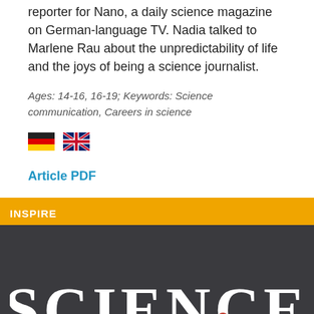reporter for Nano, a daily science magazine on German-language TV. Nadia talked to Marlene Rau about the unpredictability of life and the joys of being a science journalist.
Ages: 14-16, 16-19; Keywords: Science communication, Careers in science
[Figure (illustration): German flag and UK flag icons side by side]
Article PDF
INSPIRE
[Figure (logo): Science in School logo on dark background — white bold serif text reading SCIENCE with a red bird/flamingo graphic partially visible]